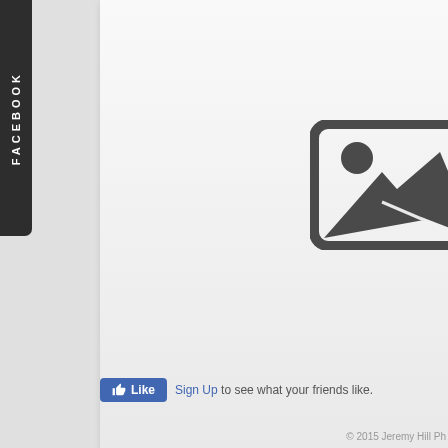[Figure (screenshot): Facebook page screenshot showing a vertical 'FACEBOOK' tab on the left side (dark rounded rectangle), a large white/light gray card with an image placeholder icon (landscape icon with mountain and sun), and a partially visible second card on the right. Below the cards is a Facebook Like button and 'Sign Up to see what your friends like.' text.]
Sign Up to see what your friends like.
© 2015 Jeremy Hill Ph